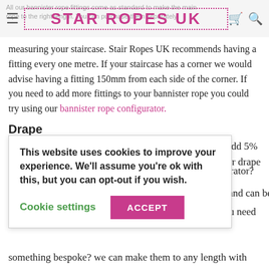STAR ROPES UK
All our bannister rope fittings come as standard to make the main rope to the right length. You can purchase them separately without measuring your staircase. Stair Ropes UK recommends having a fitting every one metre. If your staircase has a corner we would advise having a fitting 150mm from each side of the corner. If you need to add more fittings to your bannister rope you could try using our bannister rope configurator.
Drape
Do you need a drape on your rope? for a slight drape add 5%
a deeper drape
rator?
ler and can be
ou need
This website uses cookies to improve your experience. We'll assume you're ok with this, but you can opt-out if you wish.
Cookie settings   ACCEPT
something bespoke? we can make them to any length with